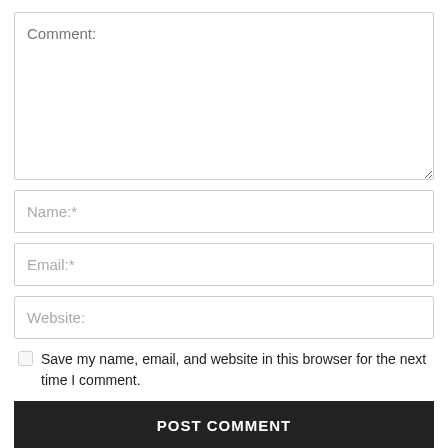Comment:
Name:*
Email:*
Website:
Save my name, email, and website in this browser for the next time I comment.
POST COMMENT